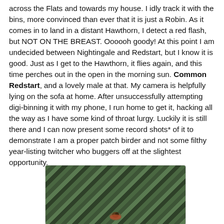across the Flats and towards my house. I idly track it with the bins, more convinced than ever that it is just a Robin. As it comes in to land in a distant Hawthorn, I detect a red flash, but NOT ON THE BREAST. Oooooh goody! At this point I am undecided between Nightingale and Redstart, but I know it is good. Just as I get to the Hawthorn, it flies again, and this time perches out in the open in the morning sun. Common Redstart, and a lovely male at that. My camera is helpfully lying on the sofa at home. After unsuccessfully attempting digi-binning it with my phone, I run home to get it, hacking all the way as I have some kind of throat lurgy. Luckily it is still there and I can now present some record shots* of it to demonstrate I am a proper patch birder and not some filthy year-listing twitcher who buggers off at the slightest opportunity.
[Figure (photo): A photograph of a bird (Common Redstart) perched among green leafy branches and dark twigs, partially obscured by foliage.]